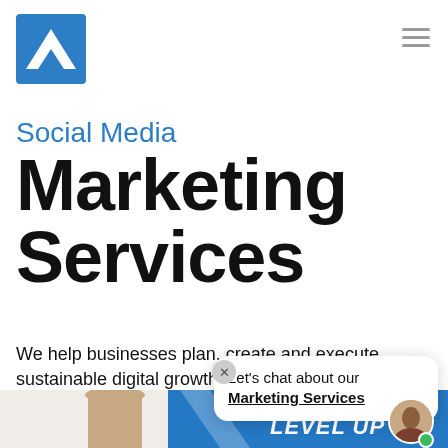[Figure (logo): Blue square logo with white upward-pointing arrow/chevron shape]
Social Media
Marketing
Services
We help businesses plan, create and execute sustainable digital growth s…
[Figure (screenshot): Chat widget popup with close button, text 'Let's chat about our Marketing Services', and a small avatar with green online dot. Also shows bottom portion of webpage with a woman's photo on the left and a blue graphic card on the right labeled 'LEVEL UP'.]